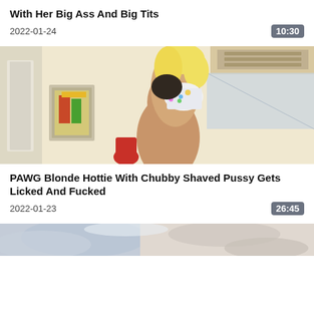With Her Big Ass And Big Tits
2022-01-24
10:30
[Figure (photo): Video thumbnail showing two people in an indoor setting with white walls and a framed picture in the background]
PAWG Blonde Hottie With Chubby Shaved Pussy Gets Licked And Fucked
2022-01-23
26:45
[Figure (photo): Partial video thumbnail showing a light blue/gray abstract background, partially visible at bottom of page]